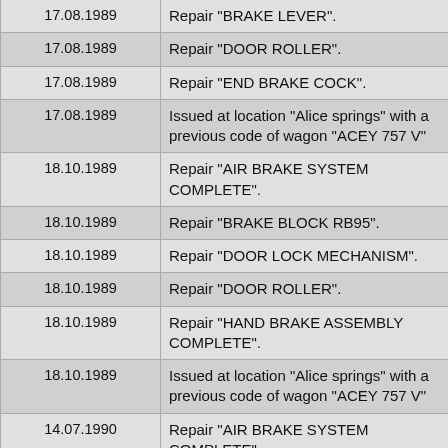| Date | Description |
| --- | --- |
| 17.08.1989 | Repair "BRAKE LEVER". |
| 17.08.1989 | Repair "DOOR ROLLER". |
| 17.08.1989 | Repair "END BRAKE COCK". |
| 17.08.1989 | Issued at location "Alice springs" with a previous code of wagon "ACEY 757 V" |
| 18.10.1989 | Repair "AIR BRAKE SYSTEM COMPLETE". |
| 18.10.1989 | Repair "BRAKE BLOCK RB95". |
| 18.10.1989 | Repair "DOOR LOCK MECHANISM". |
| 18.10.1989 | Repair "DOOR ROLLER". |
| 18.10.1989 | Repair "HAND BRAKE ASSEMBLY COMPLETE". |
| 18.10.1989 | Issued at location "Alice springs" with a previous code of wagon "ACEY 757 V" |
| 14.07.1990 | Repair "AIR BRAKE SYSTEM COMPLETE". |
| 14.07.1990 | Repair "BOGIE BEARERS". |
| 14.07.1990 | Repair "BOGIE COMPLETE". |
| 14.07.1990 | Repair "COUPLER KNUCKLE". |